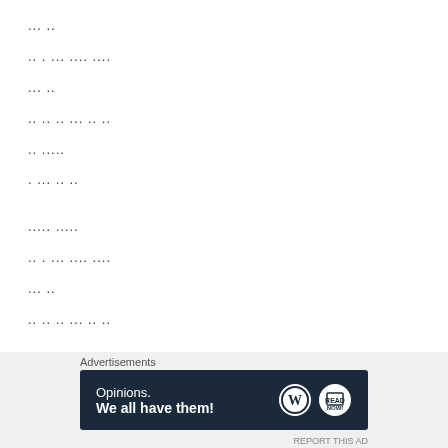... ..
.. . ... .... ....
... ..
.. .. .. ... .. ..
.. .....
. ... .. ..
..... .....
.. . ... .... ....
... ..
.. .. .. ... .. ..
.. .....
. ... .. ..
Hangul lyrics from: melon
Advertisements
[Figure (other): Advertisement banner: Opinions. We all have them! with WordPress and another logo on dark navy background]